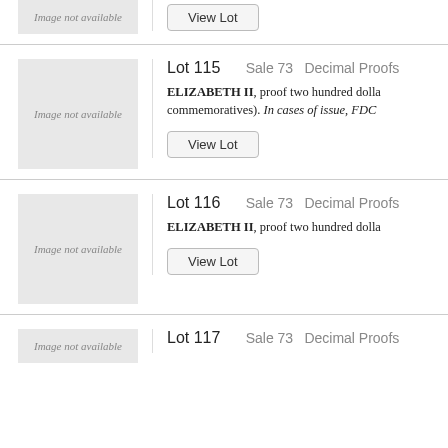[Figure (photo): Image not available placeholder (top, partial)]
View Lot
Lot 115   Sale 73   Decimal Proofs
[Figure (photo): Image not available placeholder for Lot 115]
ELIZABETH II, proof two hundred dollars commemoratives). In cases of issue, FDC
View Lot
Lot 116   Sale 73   Decimal Proofs
[Figure (photo): Image not available placeholder for Lot 116]
ELIZABETH II, proof two hundred dollars
View Lot
Lot 117   Sale 73   Decimal Proofs
[Figure (photo): Image not available placeholder for Lot 117 (partial)]